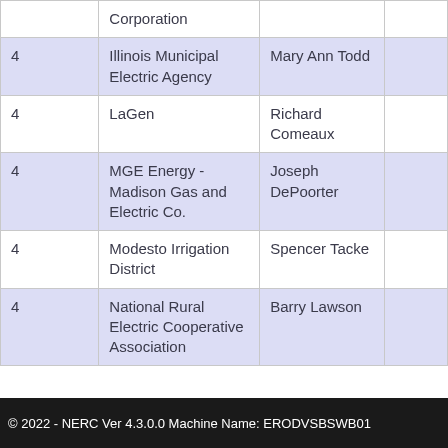|  |  |  |  |
| --- | --- | --- | --- |
|  | Corporation |  |  |
| 4 | Illinois Municipal Electric Agency | Mary Ann Todd |  |
| 4 | LaGen | Richard Comeaux |  |
| 4 | MGE Energy - Madison Gas and Electric Co. | Joseph DePoorter |  |
| 4 | Modesto Irrigation District | Spencer Tacke |  |
| 4 | National Rural Electric Cooperative Association | Barry Lawson |  |
© 2022 - NERC Ver 4.3.0.0 Machine Name: ERODVSBSWB01